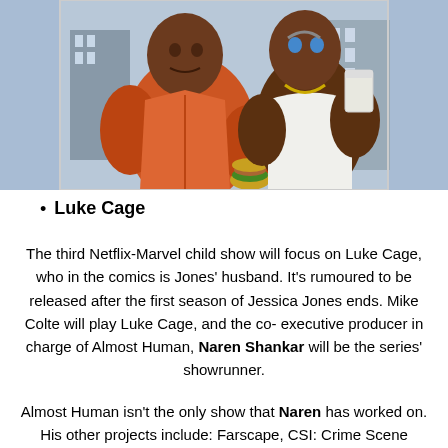[Figure (illustration): Comic book style illustration showing two muscular characters in an urban setting. One character wearing an orange jacket holding a burger, another in a white tank top holding a cup. City buildings visible in background.]
Luke Cage
The third Netflix-Marvel child show will focus on Luke Cage, who in the comics is Jones' husband. It's rumoured to be released after the first season of Jessica Jones ends. Mike Colte will play Luke Cage, and the co-executive producer in charge of Almost Human, Naren Shankar will be the series' showrunner.
Almost Human isn't the only show that Naren has worked on. His other projects include: Farscape, CSI: Crime Scene Investigation, Night Visions, The Outer Limits, The Chronicle, Star Trek: Deep Space Nine, seaQuest 2032,